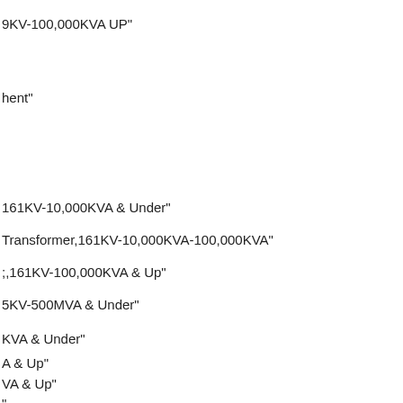9KV-100,000KVA UP"
hent"
161KV-10,000KVA & Under"
Transformer,161KV-10,000KVA-100,000KVA"
;,161KV-100,000KVA & Up"
5KV-500MVA & Under"
KVA & Under"
A & Up"
VA & Up"
"